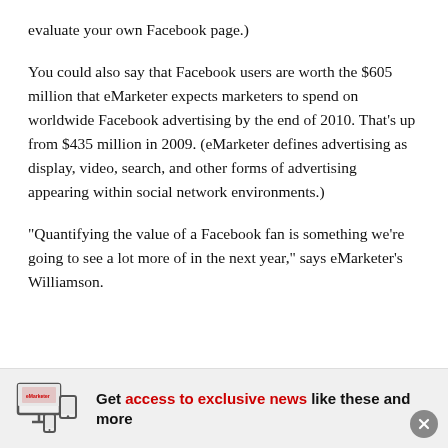evaluate your own Facebook page.)
You could also say that Facebook users are worth the $605 million that eMarketer expects marketers to spend on worldwide Facebook advertising by the end of 2010. That’s up from $435 million in 2009. (eMarketer defines advertising as display, video, search, and other forms of advertising appearing within social network environments.)
“Quantifying the value of a Facebook fan is something we’re going to see a lot more of in the next year,” says eMarketer’s Williamson.
Get access to exclusive news like these and more